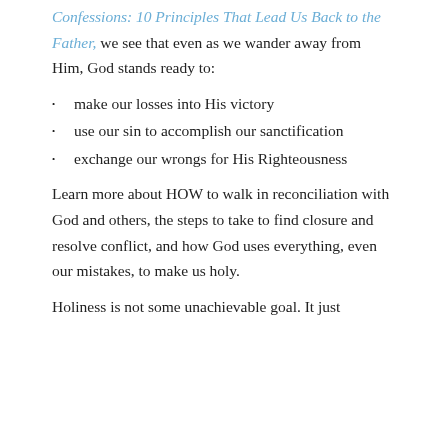Confessions: 10 Principles That Lead Us Back to the Father, we see that even as we wander away from Him, God stands ready to:
make our losses into His victory
use our sin to accomplish our sanctification
exchange our wrongs for His Righteousness
Learn more about HOW to walk in reconciliation with God and others, the steps to take to find closure and resolve conflict, and how God uses everything, even our mistakes, to make us holy.
Holiness is not some unachievable goal. It just